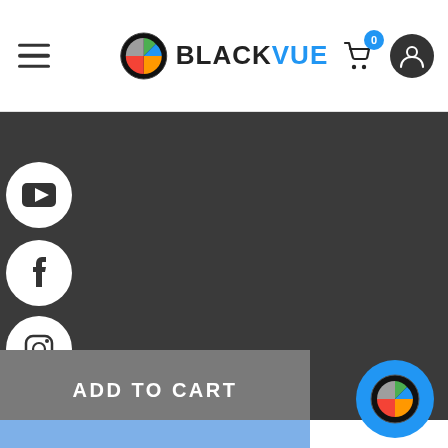[Figure (screenshot): BlackVue website screenshot showing header with hamburger menu, BlackVue logo, cart icon with badge showing 0, and user account icon. Below header is a dark gray content area with a vertical sidebar of social media icons (YouTube, Facebook, Instagram, TikTok, Twitter, and partially visible icon). At the bottom are two buttons: gray ADD TO CART and blue BUY NOW. A floating circular BlackVue logo button appears at bottom right.]